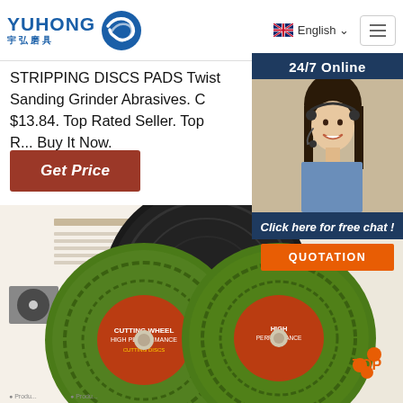[Figure (logo): Yuhong logo with Chinese characters and blue wave icon]
English
STRIPPING DISCS PADS Twist Sanding Grinder Abrasives. C $13.84. Top Rated Seller. Top R... Buy It Now.
Get Price
24/7 Online
[Figure (photo): Customer service representative woman with headset smiling]
Click here for free chat !
QUOTATION
[Figure (photo): Green abrasive cutting discs with product specification sheet]